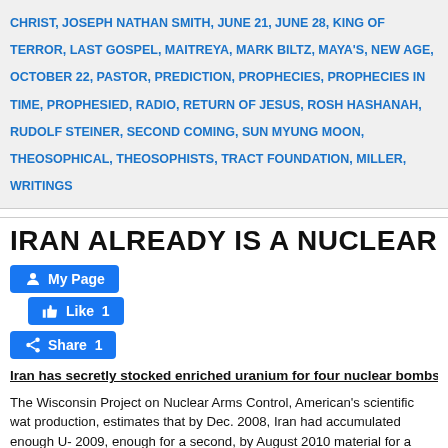CHRIST, JOSEPH NATHAN SMITH, JUNE 21, JUNE 28, KING OF TERROR, LAST GOSPEL, MAITREYA, MARK BILTZ, MAYA'S, NEW AGE, OCTOBER 22, PASTOR, PREDICTION, PROPHECIES, PROPHECIES IN TIME, PROPHESIED, RADIO, RETURN OF JESUS, ROSH HASHANAH, RUDOLF STEINER, SECOND COMING, SUN MYUNG MOON, THEOSOPHICAL, THEOSOPHISTS, TRACT FOUNDATION, MILLER, WRITINGS
IRAN ALREADY IS A NUCLEAR POWER SI
[Figure (screenshot): Facebook social buttons: My Page button, Like 1 button, Share 1 button]
Iran has secretly stocked enriched uranium for four nuclear bombs!
The Wisconsin Project on Nuclear Arms Control, American's scientific watchdog on nuclear production, estimates that by Dec. 2008, Iran had accumulated enough U-235 for one bomb, by 2009, enough for a second, by August 2010 material for a third bomb and by late 2010 enough uranium for a fourth bomb.
These estimates presuppose an Iranian decision to further process low-en